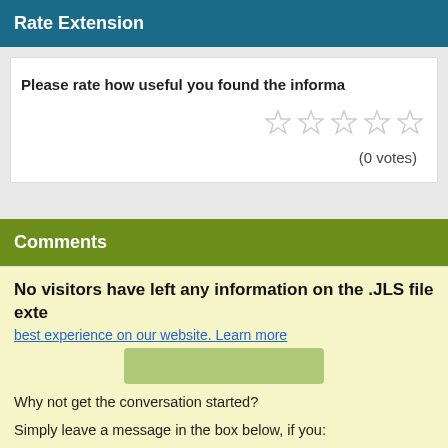Rate Extension
Please rate how useful you found the informa…
[Figure (other): Five empty star rating icons]
(0 votes)
Comments
No visitors have left any information on the .JLS file exte…
best experience on our website. Learn more
Why not get the conversation started?
Simply leave a message in the box below, if you:
Know how to Open, Edit, Convert or Create these .JLS files
Know what software is associated with these files